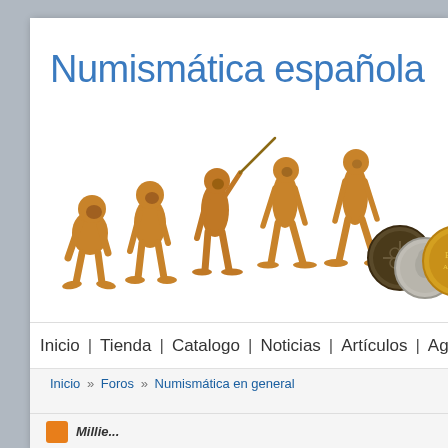Numismática española
[Figure (illustration): Human evolution march of progress illustration showing primates evolving into modern humans walking left to right, with ancient coins on the right side]
Inicio | Tienda | Catalogo | Noticias | Artículos | Agenda
Inicio » Foros » Numismática en general
Millie...